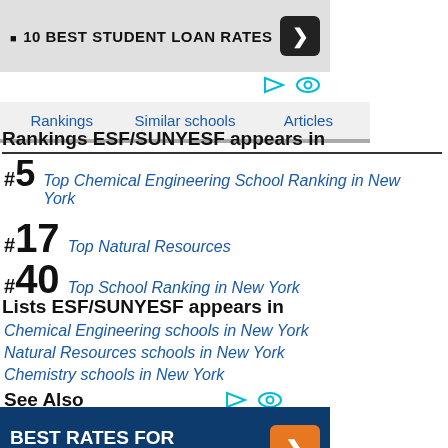[Figure (infographic): Ad banner: '10 BEST STUDENT LOAN RATES' with dark arrow button on grey background]
[Figure (infographic): Two cyan icons (play and eye) on white background]
Rankings   Similar schools   Articles
Rankings ESF/SUNYESF appears in
#5 Top Chemical Engineering School Ranking in New York
#17 Top Natural Resources
#40 Top School Ranking in New York
Lists ESF/SUNYESF appears in
Chemical Engineering schools in New York
Natural Resources schools in New York
Chemistry schools in New York
See Also
[Figure (infographic): Ad banner: 'BEST RATES FOR STUDENT LOANS' with orange arrow button on dark blue background]
[Figure (infographic): Partial dark blue ad banner with orange arrow button at bottom]